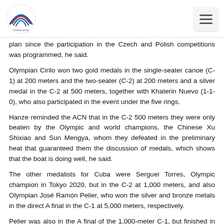[Logo] [Hamburger menu]
plan since the participation in the Czech and Polish competitions was programmed, he said.
Olympian Cirilo won two gold medals in the single-seater canoe (C-1) at 200 meters and the two-seater (C-2) at 200 meters and a silver medal in the C-2 at 500 meters, together with Khaterin Nuevo (1-1-0), who also participated in the event under the five rings.
Hanze reminded the ACN that in the C-2 500 meters they were only beaten by the Olympic and world champions, the Chinese Xu Shixiao and Sun Mengya, whom they defeated in the preliminary heat that guaranteed them the discussion of medals, which shows that the boat is doing well, he said.
The other medalists for Cuba were Serguei Torres, Olympic champion in Tokyo 2020, but in the C-2 at 1,000 meters, and also Olympian José Ramón Pelier, who won the silver and bronze metals in the direct A final in the C-1 at 5,000 meters, respectively.
Pelier was also in the A final of the 1,000-meter C-1, but finished in seventh place, while Torres was in the B final and finished sixth -